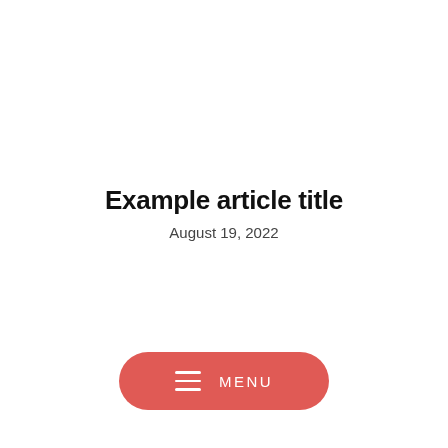Example article title
August 19, 2022
[Figure (other): A rounded pill-shaped red button with a hamburger menu icon and the text MENU in white capital letters]